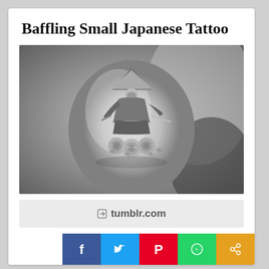Baffling Small Japanese Tattoo
[Figure (photo): Black and white photograph of a forearm with a detailed small tattoo depicting a samurai wearing a conical hat, seated among roses, holding a sword]
tumblr.com
[Figure (infographic): Social sharing bar with Facebook, Twitter, Pinterest, WhatsApp, and Share buttons]